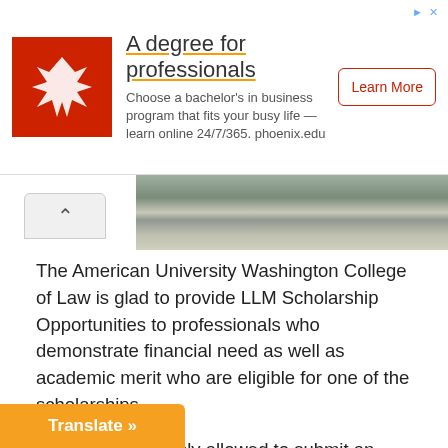[Figure (other): University of Phoenix advertisement banner with red logo showing a phoenix bird, title 'A degree for professionals', subtitle text about bachelor's in business program, and a Learn More button]
[Figure (photo): Partial photo of an outdoor walkway or campus pathway]
The American University Washington College of Law is glad to provide LLM Scholarship Opportunities to professionals who demonstrate financial need as well as academic merit who are eligible for one of the scholarships.
Candidates are only allowed to submit an application to one of the available scholarship categories. These scholarships are solely applicable to the cost of [tuition. Due] to the limited amount of money [priority] will be given to students who